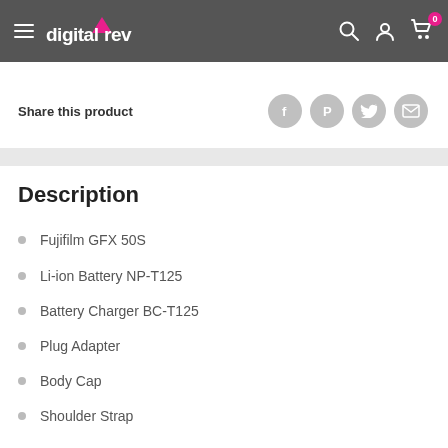digitalrev
Share this product
Description
Fujifilm GFX 50S
Li-ion Battery NP-T125
Battery Charger BC-T125
Plug Adapter
Body Cap
Shoulder Strap